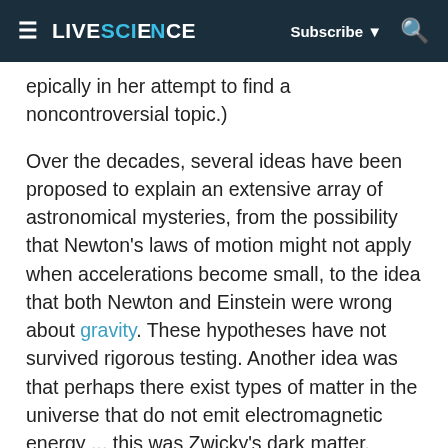LIVESCIENCE | Subscribe | Search
epically in her attempt to find a noncontroversial topic.)
Over the decades, several ideas have been proposed to explain an extensive array of astronomical mysteries, from the possibility that Newton's laws of motion might not apply when accelerations become small, to the idea that both Newton and Einstein were wrong about gravity. These hypotheses have not survived rigorous testing. Another idea was that perhaps there exist types of matter in the universe that do not emit electromagnetic energy ... this was Zwicky's dark matter.
Advertisement